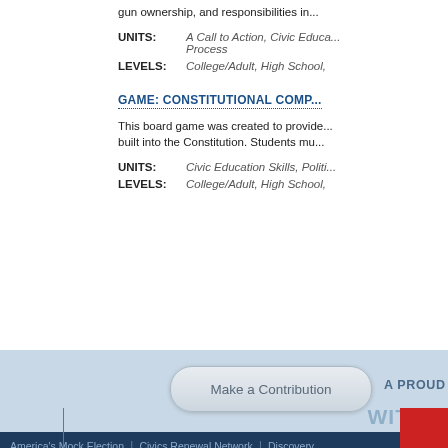gun ownership, and responsibilities in...
UNITS: A Call to Action, Civic Educa... Process
LEVELS: College/Adult, High School,
GAME: CONSTITUTIONAL COMP...
This board game was created to provide... built into the Constitution. Students mu...
UNITS: Civic Education Skills, Politi...
LEVELS: College/Adult, High School,
Make a Contribution
A PROUD PA...
WITH...
America's Mock Election | Civics Renewal Network | Discovery...